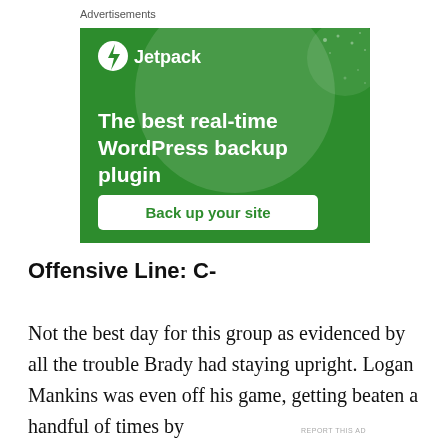Advertisements
[Figure (illustration): Jetpack advertisement banner with green background. Shows Jetpack logo (lightning bolt icon in circle) with tagline 'The best real-time WordPress backup plugin' and a 'Back up your site' call-to-action button.]
REPORT THIS AD
Offensive Line: C-
Not the best day for this group as evidenced by all the trouble Brady had staying upright. Logan Mankins was even off his game, getting beaten a handful of times by